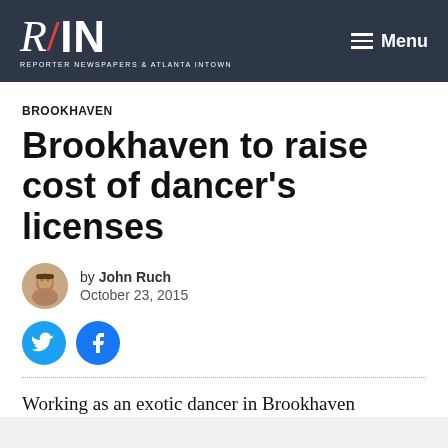R/IN — Reporter Newspapers & Atlanta Intown — Menu
BROOKHAVEN
Brookhaven to raise cost of dancer's licenses
by John Ruch
October 23, 2015
Working as an exotic dancer in Brookhaven